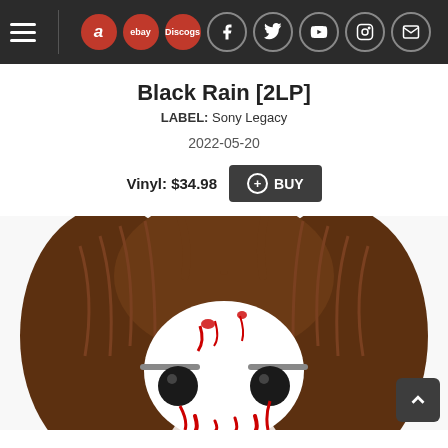Navigation bar with hamburger menu, Amazon, eBay, Discogs, Facebook, Twitter, YouTube, Instagram, Email icons
Black Rain [2LP]
LABEL: Sony Legacy
2022-05-20
Vinyl: $34.98  + BUY
[Figure (photo): Close-up of a Funko Pop vinyl figure with brown hair and a white face with black eyes and red markings, styled after a horror character.]